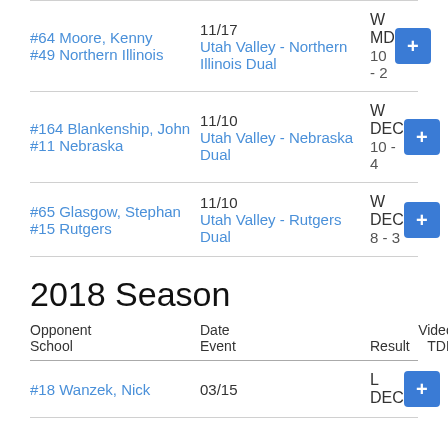| Opponent/School | Date/Event | Result | Video TDL |
| --- | --- | --- | --- |
| #64 Moore, Kenny / #49 Northern Illinois | 11/17 / Utah Valley - Northern Illinois Dual | W MD / 10 - 2 | + |
| #164 Blankenship, John / #11 Nebraska | 11/10 / Utah Valley - Nebraska Dual | W DEC / 10 - 4 | + |
| #65 Glasgow, Stephan / #15 Rutgers | 11/10 / Utah Valley - Rutgers Dual | W DEC / 8 - 3 | + |
2018 Season
| Opponent School | Date Event | Result | Video TDL |
| --- | --- | --- | --- |
| #18 Wanzek, Nick | 03/15 | L DEC | + |